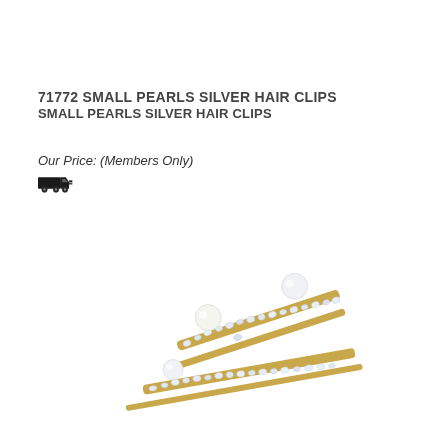71772 SMALL PEARLS SILVER HAIR CLIPS
SMALL PEARLS SILVER HAIR CLIPS
Our Price: (Members Only)
[Figure (photo): Two gold-toned hair clip bobby pins with crystal rhinestones and small white pearl accents, shown at an angle against a white background.]